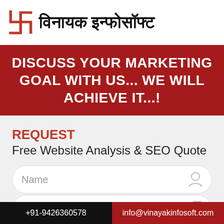विनायक इन्फोसॉफ्ट
DISCUSS YOUR MARKETING GOAL WITH US... WE WILL ACHIEVE IT...!
REQUEST
Free Website Analysis & SEO Quote
Name
Phone
+91-9426360578 | info@vinayakinfosoft.com